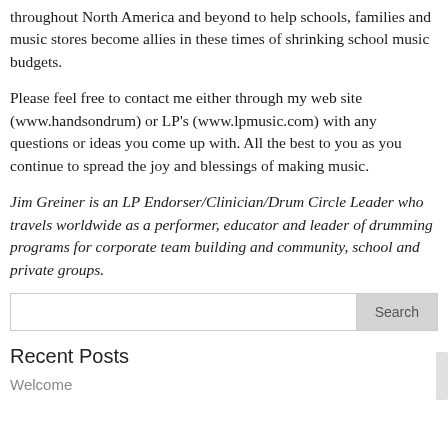throughout North America and beyond to help schools, families and music stores become allies in these times of shrinking school music budgets.
Please feel free to contact me either through my web site (www.handsondrum) or LP's (www.lpmusic.com) with any questions or ideas you come up with. All the best to you as you continue to spread the joy and blessings of making music.
Jim Greiner is an LP Endorser/Clinician/Drum Circle Leader who travels worldwide as a performer, educator and leader of drumming programs for corporate team building and community, school and private groups.
Recent Posts
Welcome